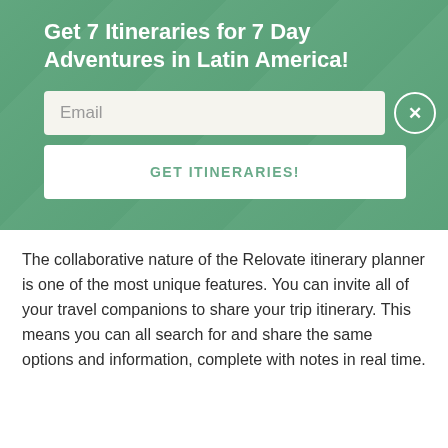[Figure (infographic): Green overlay banner with a background photo (people in Latin America). Contains a bold white headline, an email input field, a close (X) button, and a 'GET ITINERARIES!' button.]
Get 7 Itineraries for 7 Day Adventures in Latin America!
The collaborative nature of the Relovate itinerary planner is one of the most unique features. You can invite all of your travel companions to share your trip itinerary. This means you can all search for and share the same options and information, complete with notes in real time.